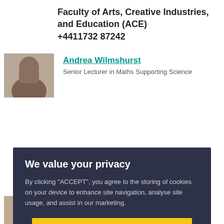Faculty of Arts, Creative Industries, and Education (ACE)
+4411732 87242
[Figure (photo): Profile photo of Andrea Wilmshurst, a person with brown hair]
Andrea Wilmshurst
Senior Lecturer in Maths Supporting Science
We value your privacy
By clicking "ACCEPT", you agree to the storing of cookies on your device to enhance site navigation, analyse site usage, and assist in our marketing.
ACCEPT
VIEW COOKIE SETTINGS
[Figure (photo): Partial profile photo of David Hewish]
David Hewish